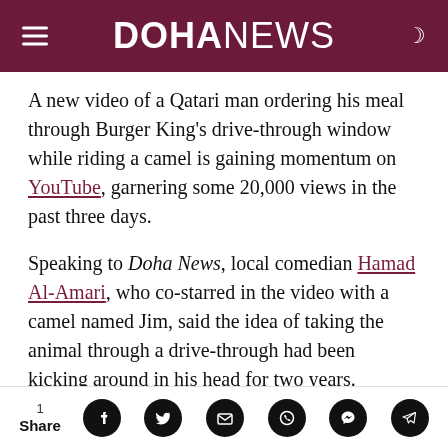DOHA NEWS
A new video of a Qatari man ordering his meal through Burger King's drive-through window while riding a camel is gaining momentum on YouTube, garnering some 20,000 views in the past three days.
Speaking to Doha News, local comedian Hamad Al-Amari, who co-starred in the video with a camel named Jim, said the idea of taking the animal through a drive-through had been kicking around in his head for two years.
1 Share [Facebook] [Twitter] [Email] [WhatsApp] [Messenger] [Telegram]